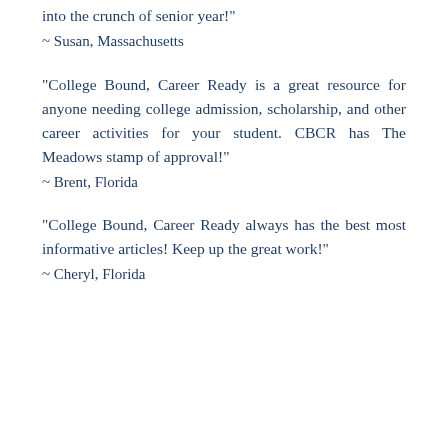into the crunch of senior year!"
~ Susan, Massachusetts
"College Bound, Career Ready is a great resource for anyone needing college admission, scholarship, and other career activities for your student. CBCR has The Meadows stamp of approval!"
~ Brent, Florida
"College Bound, Career Ready always has the best most informative articles! Keep up the great work!"
~ Cheryl, Florida